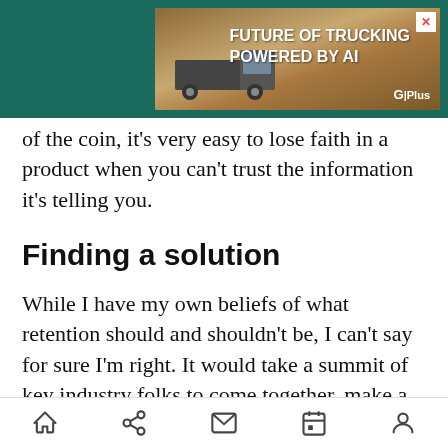[Figure (other): Advertisement banner: 'FUTURE OF TRUCKING POWERED BY AI' with truck image and G|Plus logo on teal background]
of the coin, it’s very easy to lose faith in a product when you can’t trust the information it’s telling you.
Finding a solution
While I have my own beliefs of what retention should and shouldn’t be, I can’t say for sure I’m right. It would take a summit of key industry folks to come together, make a consensus, then share that consensus with major influencers to set the
Home | Share | Mail | Calendar | Profile